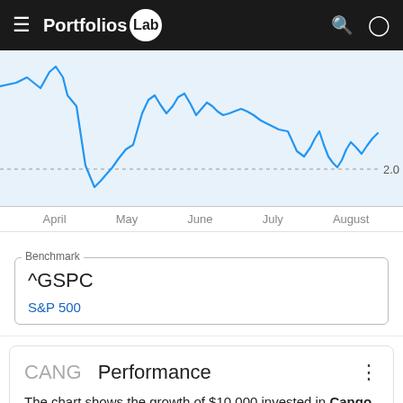Portfolios Lab
[Figure (continuous-plot): Line chart showing stock volatility metric over time from approximately March to August, with a notable sharp dip around late March/April reaching a low near 2.0, and another dip in July. Blue line on light blue background. Y-axis shows value 2.0 at dotted reference line.]
April May June July August
^GSPC
S&P 500
CANG Performance
The chart shows the growth of $10,000 invested in Cango Inc. in Jul 2018 and compares it to the S&P 500 index over the chosen period it would be worth the